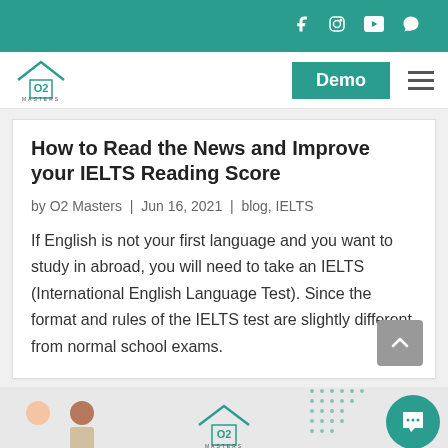O2 Masters — navigation with Demo button and social icons
How to Read the News and Improve your IELTS Reading Score
by O2 Masters | Jun 16, 2021 | blog, IELTS
If English is not your first language and you want to study in abroad, you will need to take an IELTS (International English Language Test). Since the format and rules of the IELTS test are slightly different from normal school exams.
[Figure (illustration): Bottom section with illustrated student figures, O2 Masters logo, decorative dot pattern, and teal chat bubble]